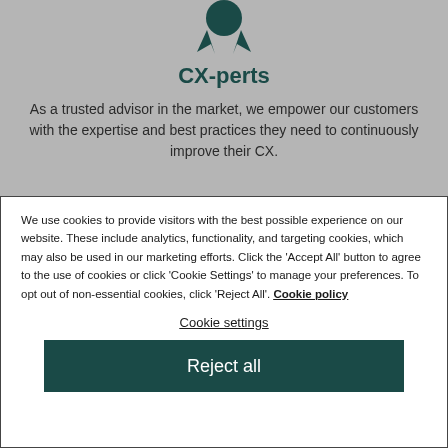[Figure (illustration): Award ribbon / medal icon in dark teal color at top of page]
CX-perts
As a trusted advisor in the market, we empower our customers with the expertise and best practices they need to continuously improve their CX.
We use cookies to provide visitors with the best possible experience on our website. These include analytics, functionality, and targeting cookies, which may also be used in our marketing efforts. Click the 'Accept All' button to agree to the use of cookies or click 'Cookie Settings' to manage your preferences. To opt out of non-essential cookies, click 'Reject All'. Cookie policy
Cookie settings
Reject all